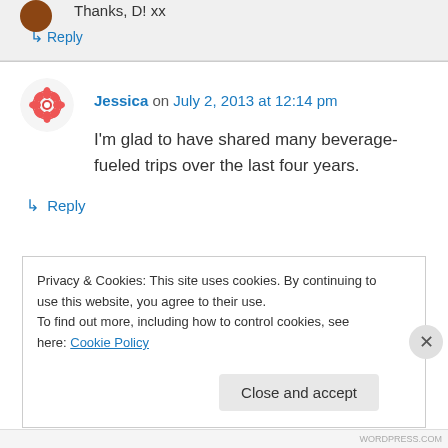Thanks, D! xx
↳ Reply
Jessica on July 2, 2013 at 12:14 pm
I'm glad to have shared many beverage-fueled trips over the last four years.
↳ Reply
Privacy & Cookies: This site uses cookies. By continuing to use this website, you agree to their use.
To find out more, including how to control cookies, see here: Cookie Policy
Close and accept